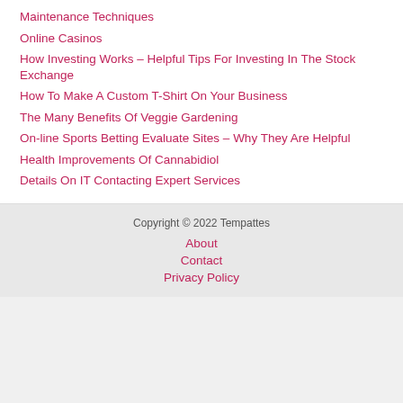Maintenance Techniques
Online Casinos
How Investing Works – Helpful Tips For Investing In The Stock Exchange
How To Make A Custom T-Shirt On Your Business
The Many Benefits Of Veggie Gardening
On-line Sports Betting Evaluate Sites – Why They Are Helpful
Health Improvements Of Cannabidiol
Details On IT Contacting Expert Services
Copyright © 2022 Tempattes
About
Contact
Privacy Policy